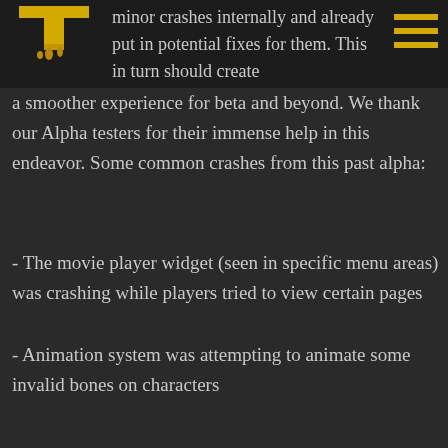Logo and navigation header
minor crashes internally and already put in potential fixes for them. This in turn should create a smoother experience for beta and beyond. We thank our Alpha testers for their immense help in this endeavor. Some common crashes from this past alpha:
- The movie player widget (seen in specific menu areas) was crashing while players tried to view certain pages
- Animation system was attempting to animate some invalid bones on characters
Other investigations are ongoing for different crashes people have been experiencing. To help in future tests, be sure to fill out any relevant information on any crashes you experience in the